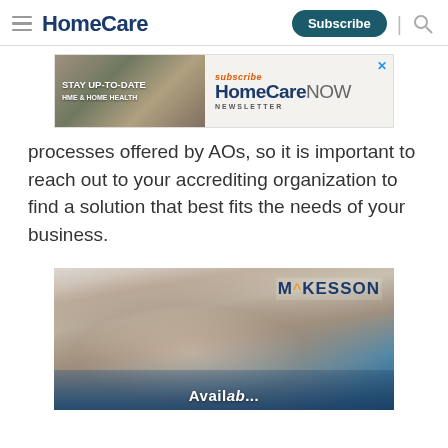HomeCare | Subscribe | [search]
[Figure (advertisement): HomeCare NOW Newsletter subscription banner ad with laptop/desk background image]
processes offered by AOs, so it is important to reach out to your accrediting organization to find a solution that best fits the needs of your business.
[Figure (advertisement): McKesson advertisement showing a man sleeping with a CPAP mask]